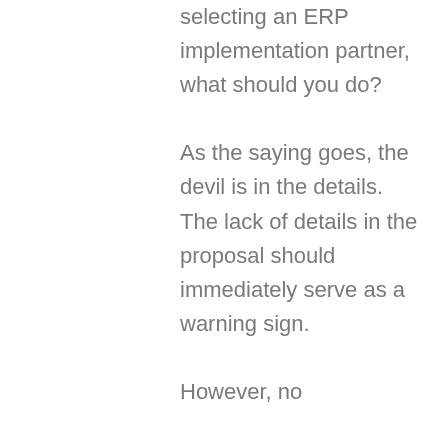selecting an ERP implementation partner, what should you do? As the saying goes, the devil is in the details. The lack of details in the proposal should immediately serve as a warning sign. However, no